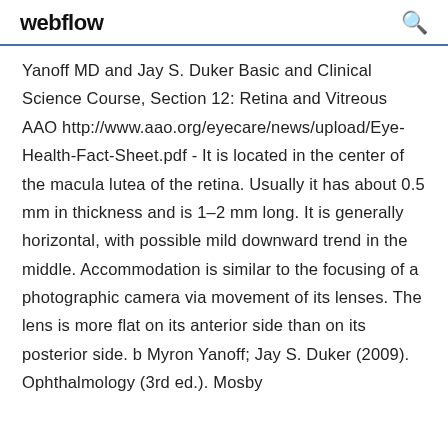webflow
Yanoff MD and Jay S. Duker Basic and Clinical Science Course, Section 12: Retina and Vitreous AAO http://www.aao.org/eyecare/news/upload/Eye-Health-Fact-Sheet.pdf - It is located in the center of the macula lutea of the retina. Usually it has about 0.5 mm in thickness and is 1–2 mm long. It is generally horizontal, with possible mild downward trend in the middle. Accommodation is similar to the focusing of a photographic camera via movement of its lenses. The lens is more flat on its anterior side than on its posterior side. b Myron Yanoff; Jay S. Duker (2009). Ophthalmology (3rd ed.). Mosby